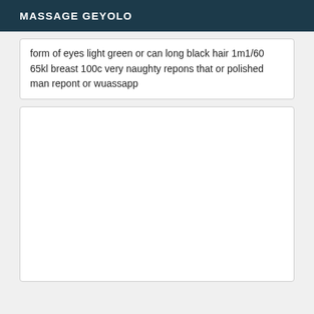MASSAGE GEYOLO
form of eyes light green or can long black hair 1m1/60 65kl breast 100c very naughty repons that or polished man repont or wuassapp